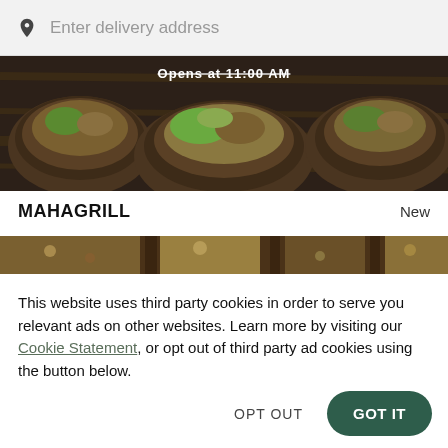[Figure (screenshot): Search bar with location pin icon and placeholder text 'Enter delivery address' on light grey background]
[Figure (photo): Top food image — dark brown wooden table with bowls of food; white text overlay reading 'Opens at 11:00 AM']
MAHAGRILL
New
[Figure (photo): Bottom food image strip — colorful food dishes on dark background]
This website uses third party cookies in order to serve you relevant ads on other websites. Learn more by visiting our Cookie Statement, or opt out of third party ad cookies using the button below.
OPT OUT
GOT IT